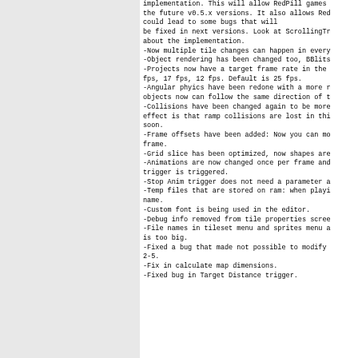implementation. This will allow RedPill games the future v0.5.x versions. It also allows Red could lead to some bugs that will be fixed in next versions. Look at ScrollingTr about the implementation.
-Now multiple tile changes can happen in every
-Object rendering has been changed too, BBlits
-Projects now have a target frame rate in the fps, 17 fps, 12 fps. Default is 25 fps.
-Angular phyics have been redone with a more r objects now can follow the same direction of t
-Collisions have been changed again to be more effect is that ramp collisions are lost in thi soon.
-Frame offsets have been added: Now you can mo frame.
-Grid slice has been optimized, now shapes are
-Animations are now changed once per frame and trigger is triggered.
-Stop Anim trigger does not need a parameter a
-Temp files that are stored on ram: when playi name.
-Custom font is being used in the editor.
-Debug info removed from tile properties scree
-File names in tileset menu and sprites menu a is too big.
-Fixed a bug that made not possible to modify 2-5.
-Fix in calculate map dimensions.
-Fixed bug in Target Distance trigger.